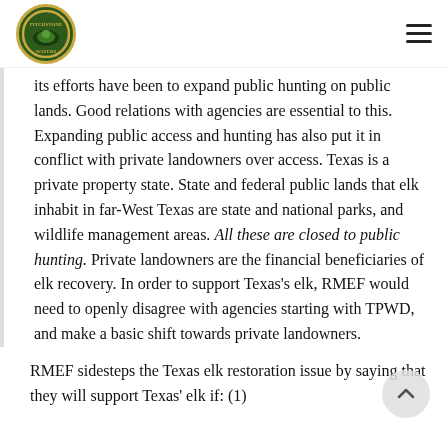Pitchstone Waters
its efforts have been to expand public hunting on public lands. Good relations with agencies are essential to this. Expanding public access and hunting has also put it in conflict with private landowners over access. Texas is a private property state. State and federal public lands that elk inhabit in far-West Texas are state and national parks, and wildlife management areas. All these are closed to public hunting. Private landowners are the financial beneficiaries of elk recovery. In order to support Texas's elk, RMEF would need to openly disagree with agencies starting with TPWD, and make a basic shift towards private landowners.
RMEF sidesteps the Texas elk restoration issue by saying that they will support Texas' elk if: (1)